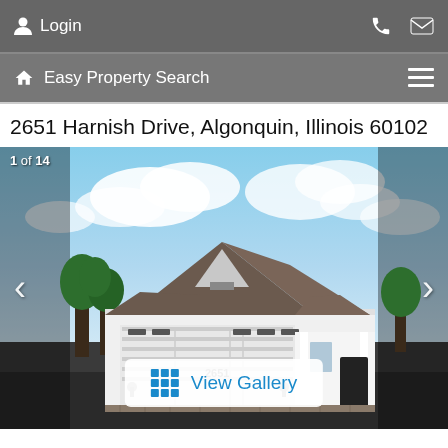Login
Easy Property Search
2651 Harnish Drive, Algonquin, Illinois 60102
[Figure (photo): Exterior photo of a single-story house at 2651 Harnish Drive, Algonquin, Illinois. White siding, gray/brown roof, two-car garage door, covered front porch with white columns, dark front door. Green trees visible on left. Blue sky with clouds in background. Shows image counter '1 of 14' and a 'View Gallery' button overlay.]